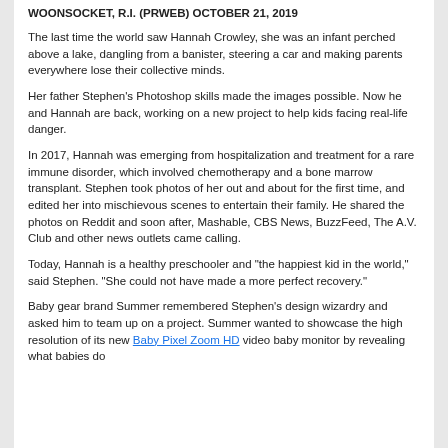WOONSOCKET, R.I. (PRWEB) OCTOBER 21, 2019
The last time the world saw Hannah Crowley, she was an infant perched above a lake, dangling from a banister, steering a car and making parents everywhere lose their collective minds.
Her father Stephen's Photoshop skills made the images possible. Now he and Hannah are back, working on a new project to help kids facing real-life danger.
In 2017, Hannah was emerging from hospitalization and treatment for a rare immune disorder, which involved chemotherapy and a bone marrow transplant. Stephen took photos of her out and about for the first time, and edited her into mischievous scenes to entertain their family. He shared the photos on Reddit and soon after, Mashable, CBS News, BuzzFeed, The A.V. Club and other news outlets came calling.
Today, Hannah is a healthy preschooler and “the happiest kid in the world,” said Stephen. “She could not have made a more perfect recovery.”
Baby gear brand Summer remembered Stephen’s design wizardry and asked him to team up on a project. Summer wanted to showcase the high resolution of its new Baby Pixel Zoom HD video baby monitor by revealing what babies do